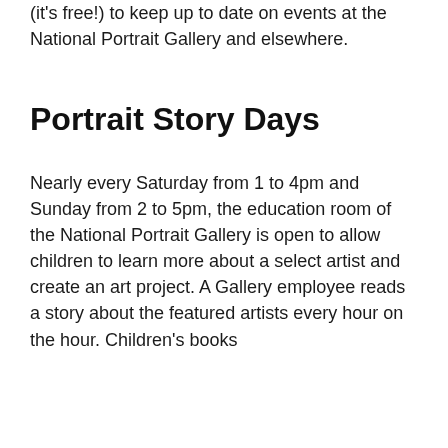(it's free!) to keep up to date on events at the National Portrait Gallery and elsewhere.
Portrait Story Days
Nearly every Saturday from 1 to 4pm and Sunday from 2 to 5pm, the education room of the National Portrait Gallery is open to allow children to learn more about a select artist and create an art project. A Gallery employee reads a story about the featured artists every hour on the hour. Children's books